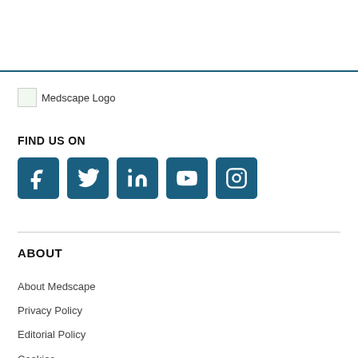[Figure (logo): Medscape Logo image placeholder with text 'Medscape Logo']
FIND US ON
[Figure (infographic): Row of 5 social media icon buttons: Facebook, Twitter, LinkedIn, YouTube, Instagram — dark teal square buttons with white icons]
ABOUT
About Medscape
Privacy Policy
Editorial Policy
Cookies